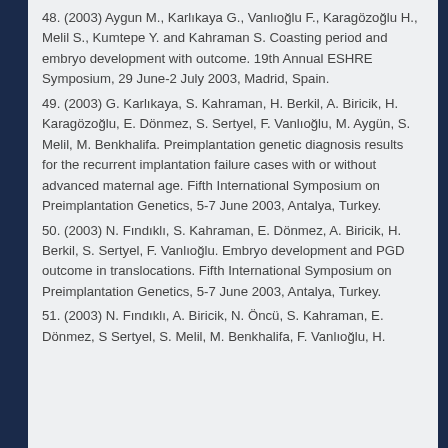48. (2003) Aygun M., Karlıkaya G., Vanlıoğlu F., Karagözoğlu H., Melil S., Kumtepe Y. and Kahraman S. Coasting period and embryo development with outcome. 19th Annual ESHRE Symposium, 29 June-2 July 2003, Madrid, Spain.
49. (2003) G. Karlıkaya, S. Kahraman, H. Berkil, A. Biricik, H. Karagözoğlu, E. Dönmez, S. Sertyel, F. Vanlıoğlu, M. Aygün, S. Melil, M. Benkhalifa. Preimplantation genetic diagnosis results for the recurrent implantation failure cases with or without advanced maternal age. Fifth International Symposium on Preimplantation Genetics, 5-7 June 2003, Antalya, Turkey.
50. (2003) N. Fındıklı, S. Kahraman, E. Dönmez, A. Biricik, H. Berkil, S. Sertyel, F. Vanlıoğlu. Embryo development and PGD outcome in translocations. Fifth International Symposium on Preimplantation Genetics, 5-7 June 2003, Antalya, Turkey.
51. (2003) N. Fındıklı, A. Biricik, N. Öncü, S. Kahraman, E. Dönmez, S Sertyel, S. Melil, M. Benkhalifa, F. Vanlıoğlu, H.